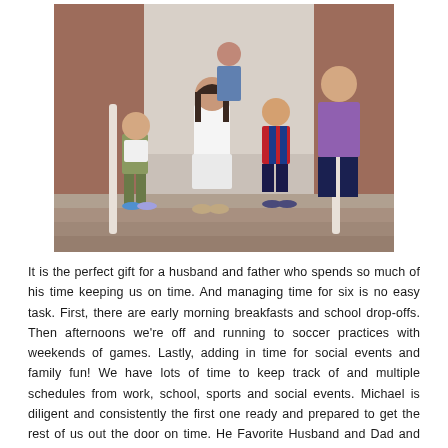[Figure (photo): Family photo of five people (two adults and three children) standing on stone steps in front of a brick building. A woman in a white dress stands in the center, a man in a purple shirt stands to the right, a young boy in camouflage pants is on the left, a boy in a soccer jersey stands to the right, and another person is partially visible at the back.]
It is the perfect gift for a husband and father who spends so much of his time keeping us on time. And managing time for six is no easy task. First, there are early morning breakfasts and school drop-offs. Then afternoons we're off and running to soccer practices with weekends of games. Lastly, adding in time for social events and family fun! We have lots of time to keep track of and multiple schedules from work, school, sports and social events. Michael is diligent and consistently the first one ready and prepared to get the rest of us out the door on time. He Favorite Husband and Dad and we love that about him!